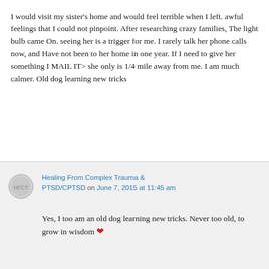I would visit my sister's home and would feel terrible when I left. awful feelings that I could not pinpoint. After researching crazy families, The light bulb came On. seeing her is a trigger for me. I rarely talk her phone calls now, and Have not been to her home in one year. If I need to give her something I MAIL IT> she only is 1/4 mile away from me. I am much calmer. Old dog learning new tricks
Healing From Complex Trauma & PTSD/CPTSD on June 7, 2015 at 11:45 am
Yes, I too am an old dog learning new tricks. Never too old, to grow in wisdom ❤